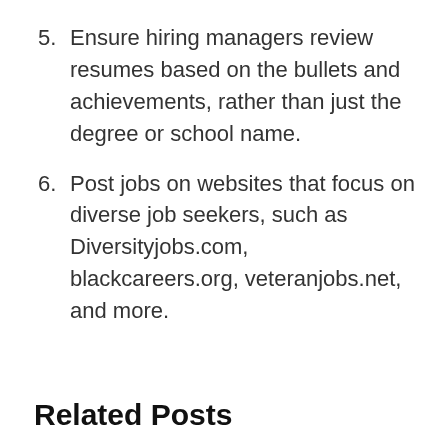5. Ensure hiring managers review resumes based on the bullets and achievements, rather than just the degree or school name.
6. Post jobs on websites that focus on diverse job seekers, such as Diversityjobs.com, blackcareers.org, veteranjobs.net, and more.
Related Posts